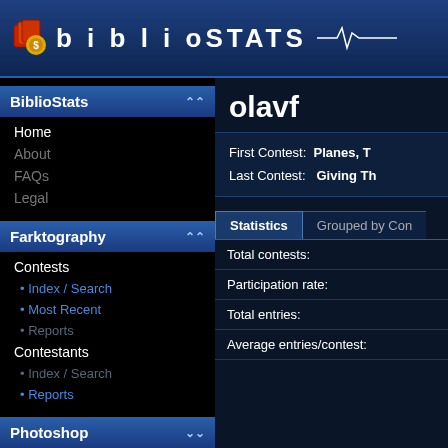biblioSTATS
BiblioStats
Home
About
FAQs
Legal
Farktography
Contests
• Index / Search
• Most Recent
• Reports
Contestants
• Index / Search
• Reports
Photoshop
olavf
First Contest: Planes, T
Last Contest: Giving Th
Statistics
Grouped by Con
Total contests:
Participation rate:
Total entries:
Average entries/contest: